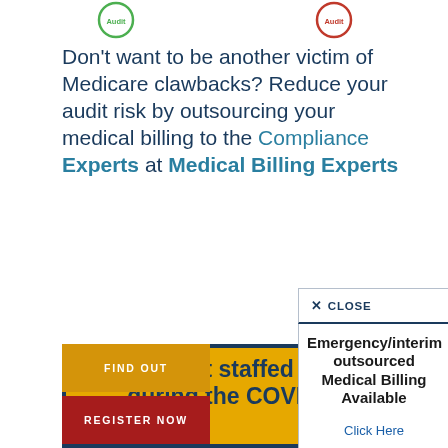[Figure (other): Two circular audit badge icons at top — one green (left), one red (right), each labeled 'Audit']
Don't want to be another victim of Medicare clawbacks? Reduce your audit risk by outsourcing your medical billing to the Compliance Experts at Medical Billing Experts
× CLOSE
Emergency/interim outsourced Medical Billing Available
Click Here
FIND OUT
REGISTER NOW
Short staffed during the COVID